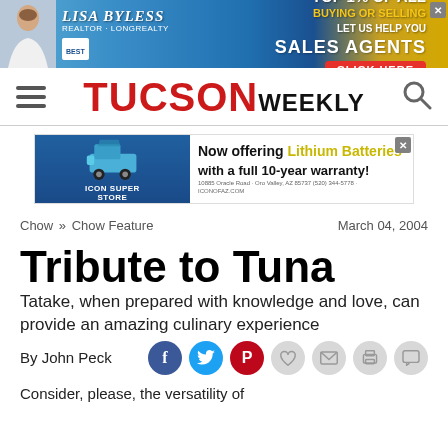[Figure (other): Advertisement banner for Lisa Bayless Realtor, top 1% of all sales agents, click here button]
[Figure (logo): Tucson Weekly newspaper logo with hamburger menu and search icon]
[Figure (other): Advertisement for Icon Super Store golf carts, now offering Lithium Batteries with a full 10-year warranty]
Chow » Chow Feature   March 04, 2004
Tribute to Tuna
Tatake, when prepared with knowledge and love, can provide an amazing culinary experience
By John Peck
Consider, please, the versatility of